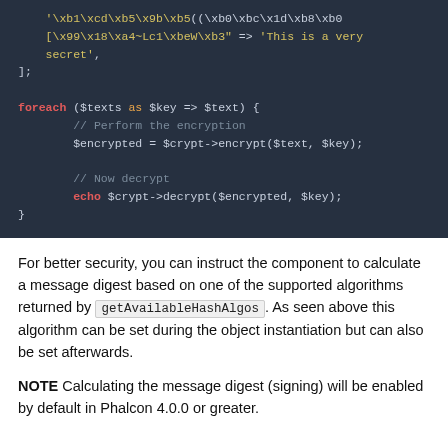[Figure (screenshot): PHP code block on dark background showing a foreach loop with encryption and decryption calls using $crypt->encrypt and $crypt->decrypt, plus array of byte-string keys.]
For better security, you can instruct the component to calculate a message digest based on one of the supported algorithms returned by getAvailableHashAlgos. As seen above this algorithm can be set during the object instantiation but can also be set afterwards.
NOTE Calculating the message digest (signing) will be enabled by default in Phalcon 4.0.0 or greater.